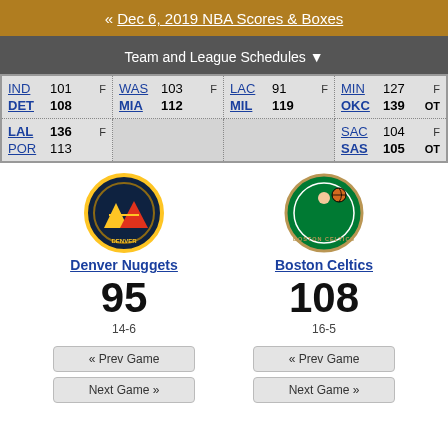« Dec 6, 2019 NBA Scores & Boxes
Team and League Schedules ▼
| Away | Score | Status | Home | Score | OT |
| --- | --- | --- | --- | --- | --- |
| IND | 101 | F | DET | 108 |  |
| WAS | 103 | F | MIA | 112 |  |
| LAC | 91 | F | MIL | 119 |  |
| MIN | 127 | F | OKC | 139 | OT |
| LAL | 136 | F | POR | 113 |  |
|  |  |  |  |  |  |
| SAC | 104 | F | SAS | 105 | OT |
[Figure (logo): Denver Nuggets logo]
Denver Nuggets
95
14-6
[Figure (logo): Boston Celtics logo]
Boston Celtics
108
16-5
« Prev Game
Next Game »
« Prev Game
Next Game »